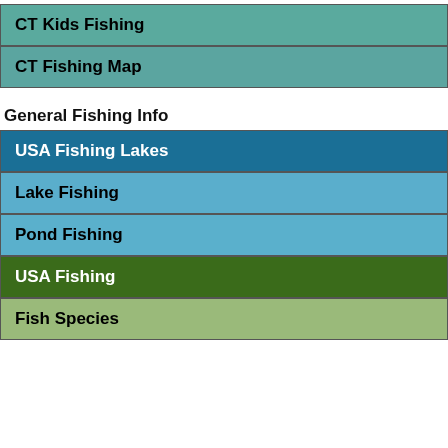CT Kids Fishing
CT Fishing Map
General Fishing Info
USA Fishing Lakes
Lake Fishing
Pond Fishing
USA Fishing
Fish Species